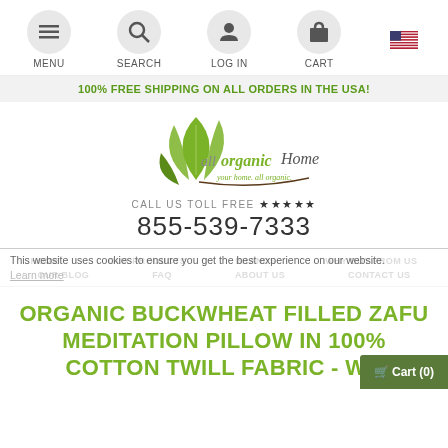MENU | SEARCH | LOG IN | CART
100% FREE SHIPPING ON ALL ORDERS IN THE USA!
[Figure (logo): All Organic Home logo with green leaves and script text reading 'all organic Home - your home. all organic.']
CALL US TOLL FREE ★★★★★ 855-539-7333
HOME | OUR PRODUCTS | BRANDS | WHY BUY FROM US | OUR BLOG | FAQ | ABOUT US | CONTACT US
This website uses cookies to ensure you get the best experience on our website. Learn more
ORGANIC BUCKWHEAT FILLED ZAFU MEDITATION PILLOW IN 100% COTTON TWILL FABRIC - WH...